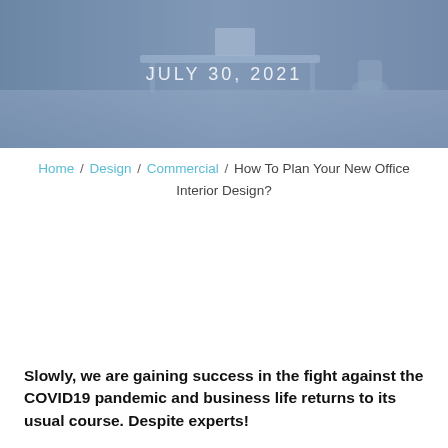[Figure (photo): Blueish-tinted office interior with desks, monitors, and chairs. Overlaid text reads JULY 30, 2021 in white letters.]
JULY 30, 2021
Home / Design / Commercial / How To Plan Your New Office Interior Design?
Slowly, we are gaining success in the fight against the COVID19 pandemic and business life returns to its usual course. Despite experts!